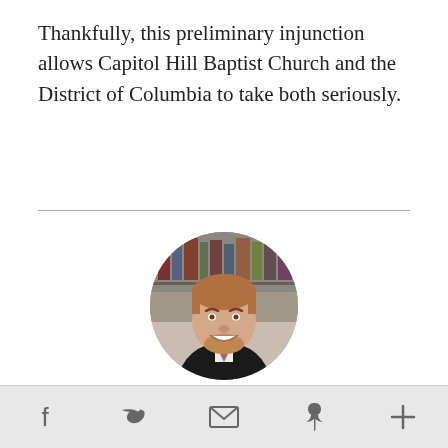Thankfully, this preliminary injunction allows Capitol Hill Baptist Church and the District of Columbia to take both seriously.
[Figure (photo): Circular headshot photo of Jeff Pickering, a young man with red-brown hair and beard, smiling, wearing a dark suit and tie, with bookshelves in the background.]
Jeff Pickering
Jeff Pickering is the director of the Initiative on...
f  twitter  email  pinterest  +